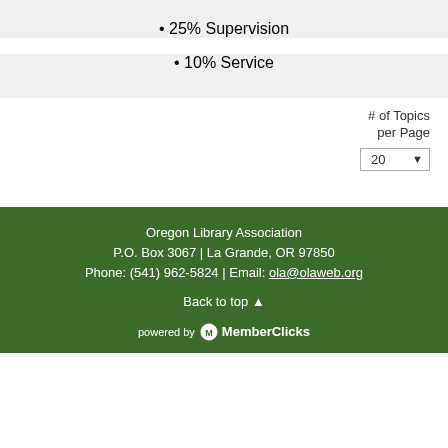• 25% Supervision
• 10% Service
# of Topics per Page
20
Oregon Library Association
P.O. Box 3067 | La Grande, OR 97850
Phone: (541) 962-5824 | Email: ola@olaweb.org
Back to top
powered by MemberClicks